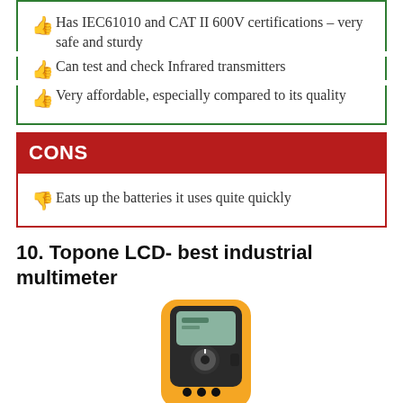Has IEC61010 and CAT II 600V certifications – very safe and sturdy
Can test and check Infrared transmitters
Very affordable, especially compared to its quality
CONS
Eats up the batteries it uses quite quickly
10. Topone LCD- best industrial multimeter
[Figure (photo): Photo of a yellow and black Topone LCD industrial multimeter handheld device]